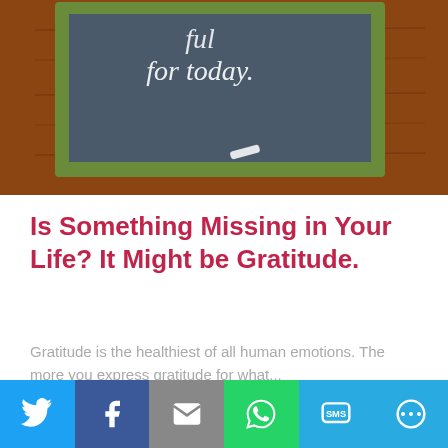[Figure (photo): Chalkboard on wooden surface with text 'for today.' written in chalk, with green frame]
Is Something Missing in Your Life? It Might be Gratitude.
Gratitude is the healthiest of all human emotions. The more you express gratitude for what...
Read